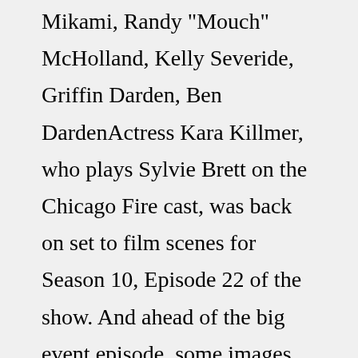Mikami, Randy "Mouch" McHolland, Kelly Severide, Griffin Darden, Ben DardenActress Kara Killmer, who plays Sylvie Brett on the Chicago Fire cast, was back on set to film scenes for Season 10, Episode 22 of the show. And ahead of the big event episode, some images have...Dessa forma, Chicago Fire não confirmou que Brett irá sair, mas apontou para que isso aconteça. Chefe da série adiantou o que vem para a personagem.